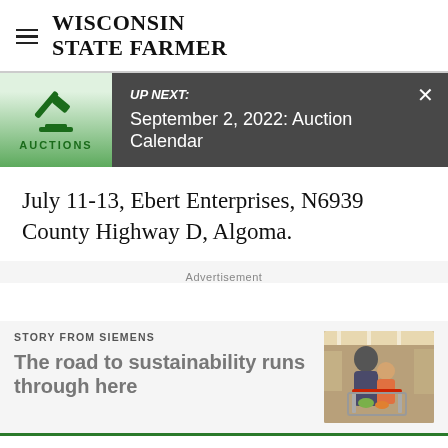WISCONSIN STATE FARMER
[Figure (screenshot): Up Next banner with Auctions icon and text: UP NEXT: September 2, 2022: Auction Calendar]
July 11-13, Ebert Enterprises, N6939 County Highway D, Algoma.
Advertisement
STORY FROM SIEMENS
The road to sustainability runs through here
[Figure (photo): Photo of adult and child in a grocery store with a shopping cart]